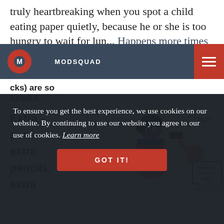truly heartbreaking when you spot a child eating paper quietly, because he or she is too hungry to wait for lun... Happens more times than you could imagine.
[Figure (logo): ModSquad logo with red circle and white M letter, white text MODSQUAD on dark navy navbar with red hamburger menu icon on right]
Odds & Ends
Extra pens, extra pencils, extra
[Figure (illustration): Cartoon illustration of a girl holding school supplies looking surprised, a boy flipping a stapler, with a Back to School Sale sign in background]
To ensure you get the best experience, we use cookies on our website. By continuing to use our website you agree to our use of cookies. Learn more
GOT IT!
cks) are so helpful.